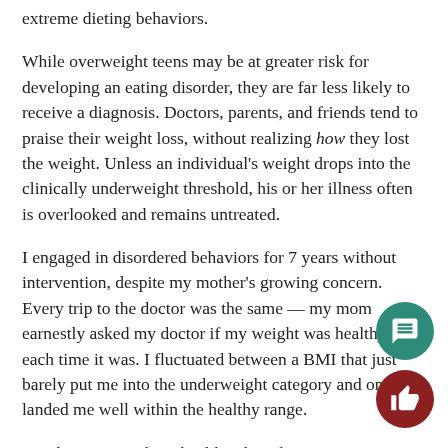extreme dieting behaviors.
While overweight teens may be at greater risk for developing an eating disorder, they are far less likely to receive a diagnosis. Doctors, parents, and friends tend to praise their weight loss, without realizing how they lost the weight. Unless an individual's weight drops into the clinically underweight threshold, his or her illness often is overlooked and remains untreated.
I engaged in disordered behaviors for 7 years without intervention, despite my mother's growing concern. Every trip to the doctor was the same — my mom earnestly asked my doctor if my weight was healthy, and each time it was. I fluctuated between a BMI that just barely put me into the underweight category and one that landed me well within the healthy range.
But there was nothing healthy about how I was maintaining that range. I yo-yoed between restricting, fasting, binging, purging, and overexercising. I felt weak every day, cold all the time, lethargic, unable to concentrate, and even passed out while rowing on a few occasions.